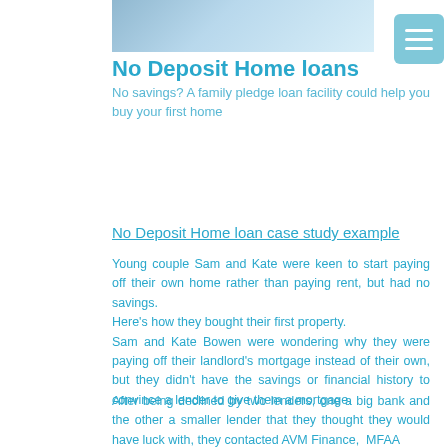[Figure (photo): Photo of a couple on a couch looking at a tablet device]
No Deposit Home loans
No savings? A family pledge loan facility could help you buy your first home
No Deposit Home loan case study example
Young couple Sam and Kate were keen to start paying off their own home rather than paying rent, but had no savings.
Here's how they bought their first property.
Sam and Kate Bowen were wondering why they were paying off their landlord's mortgage instead of their own, but they didn't have the savings or financial history to convince a lender to give them a mortgage.
After being declined by two lenders, one a big bank and the other a smaller lender that they thought they would have luck with, they contacted AVM Finance,  MFAA